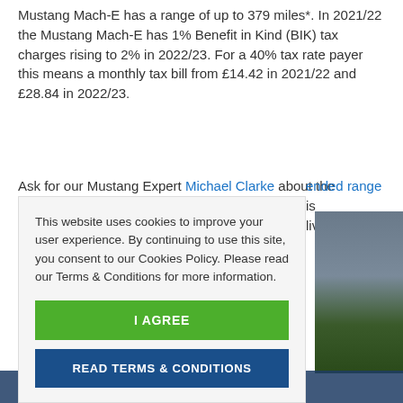Mustang Mach-E has a range of up to 379 miles*. In 2021/22 the Mustang Mach-E has 1% Benefit in Kind (BIK) tax charges rising to 2% in 2022/23. For a 40% tax rate payer this means a monthly tax bill from £14.42 in 2021/22 and £28.84 in 2022/23.
Ask for our Mustang Expert Michael Clarke about the extended range is delivery.
This website uses cookies to improve your user experience. By continuing to use this site, you consent to our Cookies Policy. Please read our Terms & Conditions for more information.
I AGREE
READ TERMS & CONDITIONS
[Figure (photo): Photo of a building with trees in the foreground]
Chat with Sales